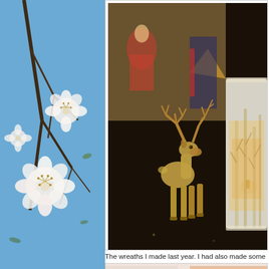[Figure (photo): Close-up of white cherry blossom flowers with yellow stamens against a blue sky background, left side panel]
[Figure (photo): A golden/brass reindeer figurine standing on a dark surface, with a glowing frosted glass candle holder with tree silhouette design to its right, and a colorful tapestry/fabric in the background]
The wreaths I made last year. I had also made some blue ones
[Figure (photo): Bottom image showing books and a red candle or decorative item, partially visible]